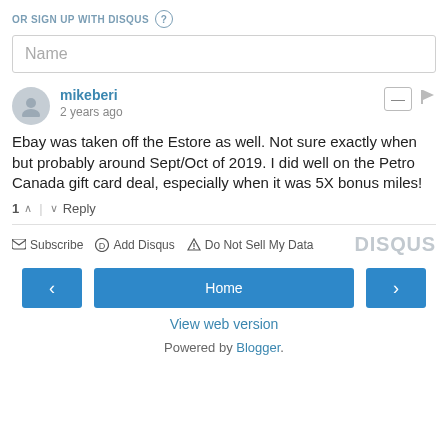OR SIGN UP WITH DISQUS ?
Name
mikeberi
2 years ago
Ebay was taken off the Estore as well. Not sure exactly when but probably around Sept/Oct of 2019. I did well on the Petro Canada gift card deal, especially when it was 5X bonus miles!
1 ↑ | ↓ Reply
✉ Subscribe  Ⓓ Add Disqus  ⚠ Do Not Sell My Data   DISQUS
< Home > View web version Powered by Blogger.